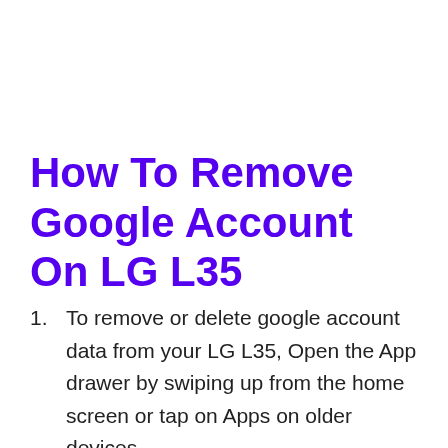How To Remove Google Account On LG L35
To remove or delete google account data from your LG L35, Open the App drawer by swiping up from the home screen or tap on Apps on older devices.